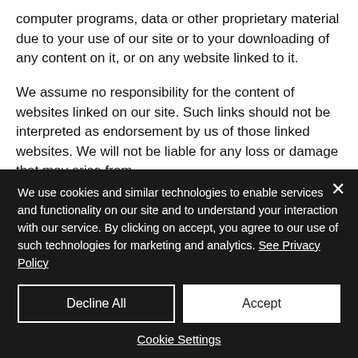computer programs, data or other proprietary material due to your use of our site or to your downloading of any content on it, or on any website linked to it.
We assume no responsibility for the content of websites linked on our site. Such links should not be interpreted as endorsement by us of those linked websites. We will not be liable for any loss or damage that may arise from...
We use cookies and similar technologies to enable services and functionality on our site and to understand your interaction with our service. By clicking on accept, you agree to our use of such technologies for marketing and analytics. See Privacy Policy